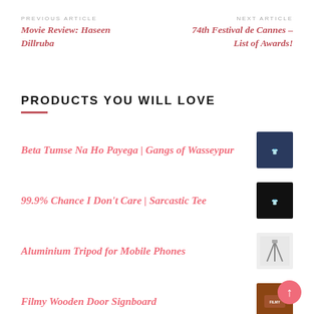PREVIOUS ARTICLE
Movie Review: Haseen Dillruba
NEXT ARTICLE
74th Festival de Cannes – List of Awards!
PRODUCTS YOU WILL LOVE
Beta Tumse Na Ho Payega | Gangs of Wasseypur
99.9% Chance I Don't Care | Sarcastic Tee
Aluminium Tripod for Mobile Phones
Filmy Wooden Door Signboard
Harry Potter Ceramic Coffee Mugs